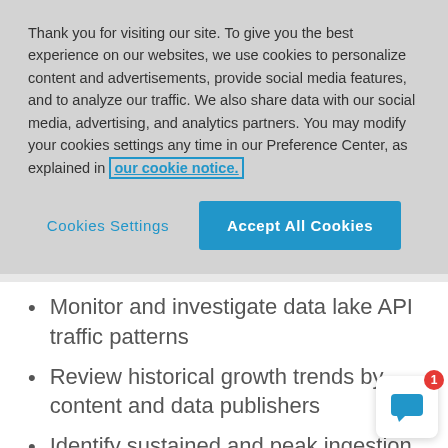Thank you for visiting our site.  To give you the best experience on our websites, we use cookies to personalize content and advertisements, provide social media features, and to analyze our traffic.  We also share data with our social media, advertising, and analytics partners.  You may modify your cookies settings any time in our Preference Center, as explained in our cookie notice.
Cookies Settings
Accept All Cookies
Monitor and investigate data lake API traffic patterns
Review historical growth trends by content and data publishers
Identify sustained and peak ingestion patterns